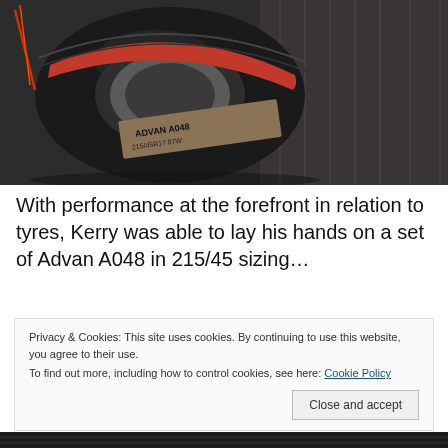[Figure (photo): A Yokohama Advan A048 tyre in 215/45R17 size, photographed from the side showing the red and black sidewall branding, sitting on what appears to be a truck bed or workshop floor.]
With performance at the forefront in relation to tyres, Kerry was able to lay his hands on a set of Advan A048 in 215/45 sizing…
Privacy & Cookies: This site uses cookies. By continuing to use this website, you agree to their use.
To find out more, including how to control cookies, see here: Cookie Policy
Close and accept
[Figure (photo): Partial view of another photo at the bottom of the page, showing what appears to be a tyre or automotive part in dark tones.]